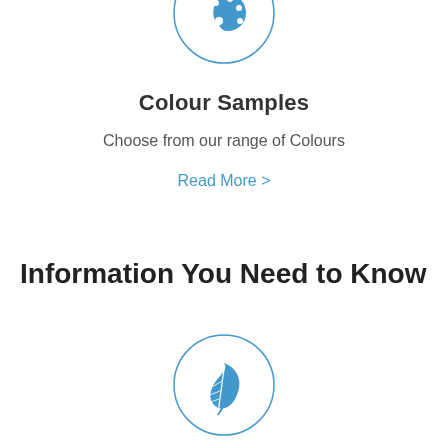[Figure (illustration): Blue painter palette icon inside a circle outline, partially cropped at top]
Colour Samples
Choose from our range of Colours
Read More >
Information You Need to Know
[Figure (illustration): Blue feather/leaf icon inside a circle outline]